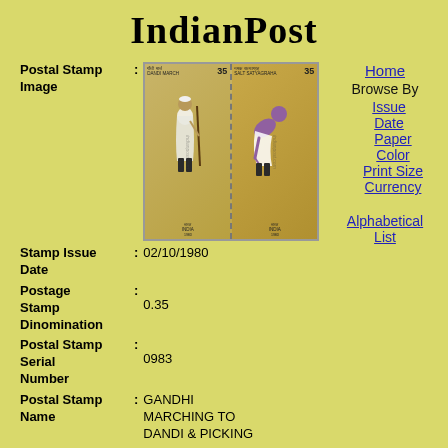IndianPost
[Figure (photo): Two Indian postal stamps side by side. Left stamp shows Gandhi marching (Dandi March, 35 paise, India 1980). Right stamp shows figure picking salt (Salt Satyagraha, 35 paise, India 1980). Both have 'indianpost.com' watermark.]
Postal Stamp Image :
Stamp Issue Date : 02/10/1980
Postage Stamp Dinomination : 0.35
Postal Stamp Serial Number : 0983
Postal Stamp Name : GANDHI MARCHING TO DANDI & PICKING
Home
Browse By
Issue
Date
Paper
Color
Print Size
Currency
Alphabetical List